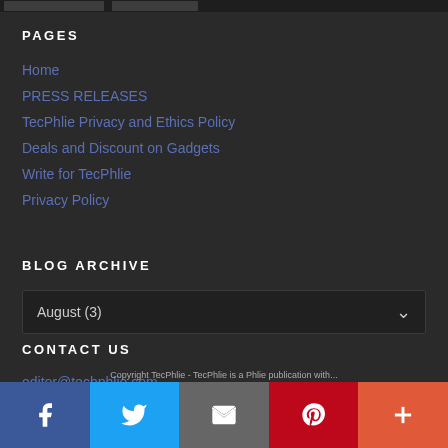PAGES
Home
PRESS RELEASES
TecPhlie Privacy and Ethics Policy
Deals and Discount on Gadgets
Write for TecPhlie
Privacy Policy
BLOG ARCHIVE
August (3)
CONTACT US
editor@techphlie.com
Copyright TecPhlie - TecPhlie is a Phlie publication with...
[Figure (infographic): Social sharing bar with Facebook, Twitter, Email, Pinterest, and More buttons]